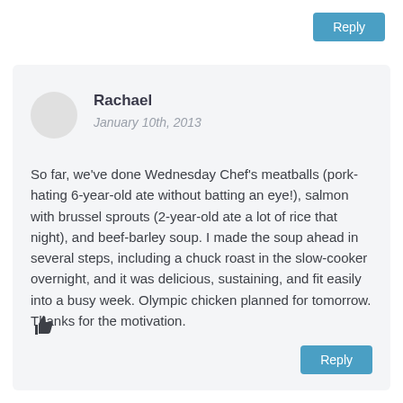Reply
Rachael
January 10th, 2013
So far, we've done Wednesday Chef's meatballs (pork-hating 6-year-old ate without batting an eye!), salmon with brussel sprouts (2-year-old ate a lot of rice that night), and beef-barley soup. I made the soup ahead in several steps, including a chuck roast in the slow-cooker overnight, and it was delicious, sustaining, and fit easily into a busy week. Olympic chicken planned for tomorrow. Thanks for the motivation.
👍
Reply